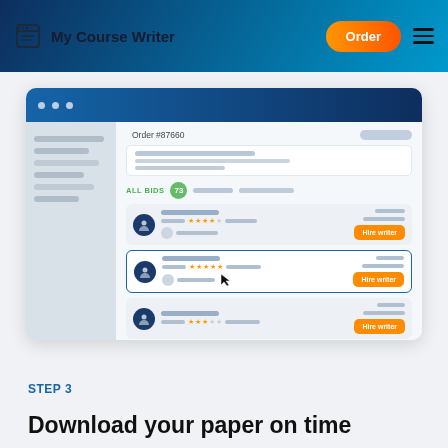My Course Writer | Order
[Figure (screenshot): Browser mockup showing an order bidding interface for Order #87660 with ALL BIDS 73, showing three writer listings each with avatar, star rating, and 'Hire writer' button. The second writer card is selected/highlighted.]
STEP 3
Download your paper on time